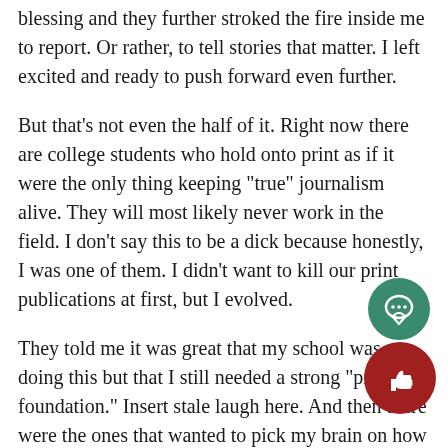blessing and they further stroked the fire inside me to report. Or rather, to tell stories that matter. I left excited and ready to push forward even further.
But that's not even the half of it. Right now there are college students who hold onto print as if it were the only thing keeping "true" journalism alive. They will most likely never work in the field. I don't say this to be a dick because honestly, I was one of them. I didn't want to kill our print publications at first, but I evolved.
They told me it was great that my school was doing this but that I still needed a strong "print foundation." Insert stale laugh here. And then there were the ones that wanted to pick my brain on how they, too, could evolve.
The interesting thing is, I've been around awhile. After mo Seattle after two semesters of journalism, I missed the newsroom and returned a couple of years later. I've atten numerous college journalism conferences and I've heard